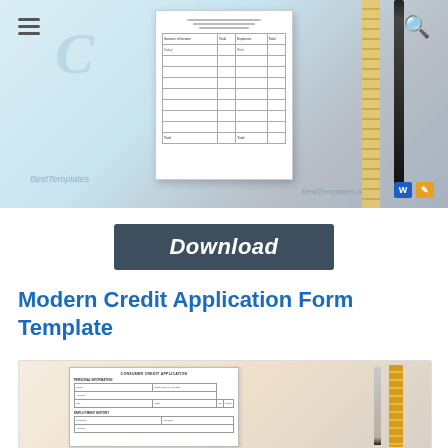[Figure (screenshot): Top banner image showing a credit application form document preview on a blue-grey gradient background with a ruler, pen, hamburger menu icon, search icon, watermark logo, and format icons (Word, edit).]
[Figure (other): Dark grey Download button with bold italic white text 'Download']
Modern Credit Application Form Template
[Figure (screenshot): Bottom preview image showing a consumer credit application form document on a warm beige/tan gradient background with a pencil and ruler on the right side. The form shows sections for Personal Information and Employment History with form fields.]